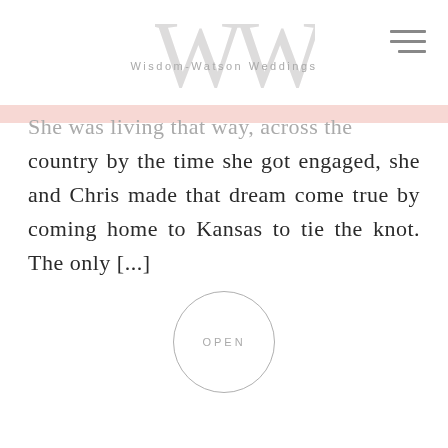Wisdom-Watson Weddings
She was living that way, across the country by the time she got engaged, she and Chris made that dream come true by coming home to Kansas to tie the knot. The only [...]
[Figure (other): Circular button with text OPEN in grey letters, outlined by a light grey circle border]